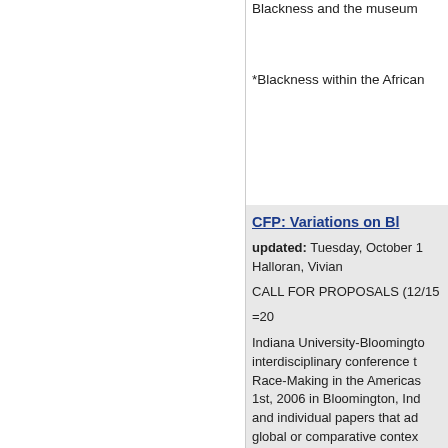Blackness and the museum
*Blackness within the African
CFP: Variations on Bl
updated: Tuesday, October 1
Halloran, Vivian
CALL FOR PROPOSALS (12/15
=20
Indiana University-Bloomingto interdisciplinary conference t Race-Making in the Americas 1st, 2006 in Bloomington, Ind and individual papers that ad global or comparative contex